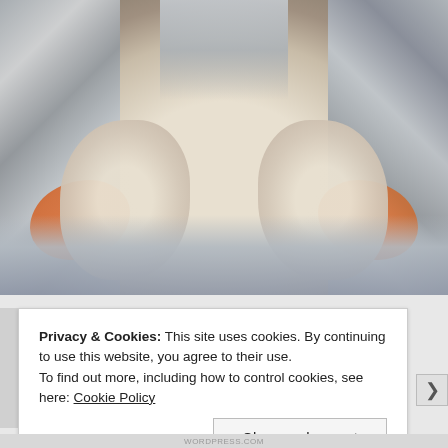[Figure (photo): A photograph of two pieces of food (likely fish or seafood) covered in a creamy white sauce, placed in a metal baking tray lined with aluminum foil, with orange-colored accompaniments (possibly roasted squash or sweet potato) visible on the sides.]
Privacy & Cookies: This site uses cookies. By continuing to use this website, you agree to their use.
To find out more, including how to control cookies, see here: Cookie Policy
Close and accept
WORDPRESS.COM